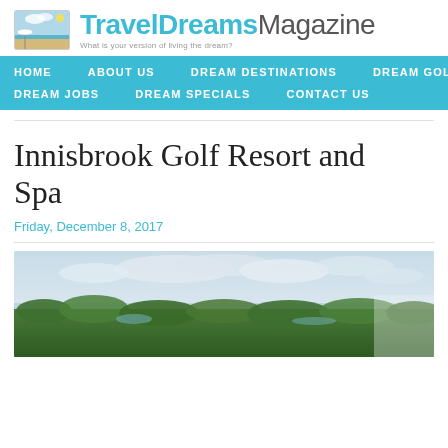TravelDreamsMagazine — What is your version of living the dream?
HOME   ABOUT US   DREAM DESTINATIONS   DREAM GOLF   DREAM JOBS   DREAM SPECIALS   CONTACT US
Innisbrook Golf Resort and Spa
Friday, December 8, 2017
[Figure (photo): Aerial landscape view of Innisbrook Golf Resort area showing green tree canopy, water features, and cloudy sky]